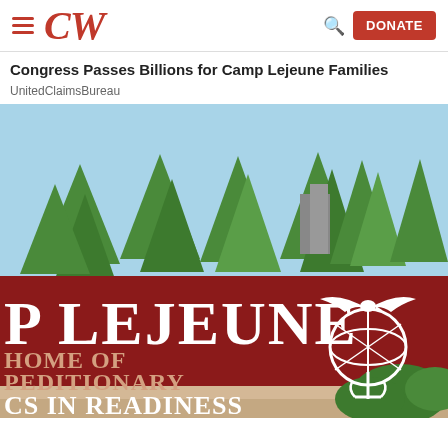CW
Congress Passes Billions for Camp Lejeune Families
UnitedClaimsBureau
[Figure (illustration): Illustrated sign for Camp Lejeune reading 'P LEJEUNE HOME OF PEDITIONARY CS IN READINESS' in white text on a dark red background, with the United States Marine Corps Eagle Globe and Anchor emblem on the right. Background shows illustrated green pine trees against a light blue sky, and green shrubs in the lower right corner.]